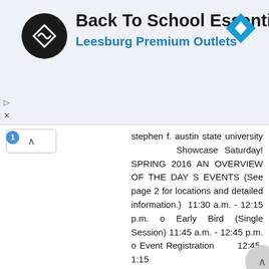[Figure (infographic): Advertisement banner: Back To School Essentials - Leesburg Premium Outlets, with a black circular logo with diamond/arrow icon and a blue navigation diamond icon on the right.]
stephen f. austin state university Showcase Saturday! SPRING 2016 AN OVERVIEW OF THE DAY S EVENTS (See page 2 for locations and detailed information.) 11:30 a.m. - 12:15 p.m. o Early Bird (Single Session) 11:45 a.m. - 12:45 p.m. o Event Registration 12:45-1:15 p.m. o Opening Programs 1:30-4 p.m. o Academic Fair 1:30-5 p.m. o Campus Showcase Tours o Residence Hall Tours o Office of Admissions Counseling 2:30-4:30 p.m. o Student Services Fair 2:30 p.m. o Residence Life Information Session o Financial Aid Information Session o Freshman Admissions Session 3:15 p.m. o Residence Life Information